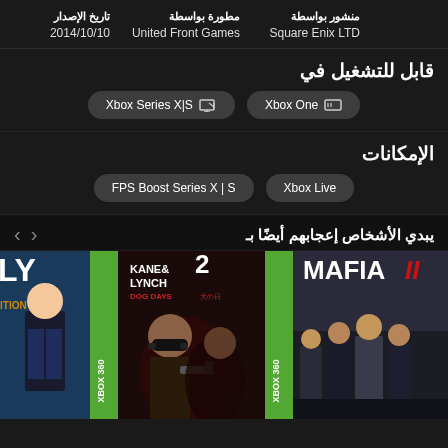منشور بواسطة: Square Enix LTD | مطورة بواسطة: United Front Games | تاريخ الإصدار: 2014/10/10
قابل للتشغيل في
Xbox Series X|S | Xbox One
الإمكانات
FPS Boost Series X | S | Xbox Live
يبدي الأشخاص إعجابهم أيضًا بـ
[Figure (screenshot): Game covers carousel showing partial LY ITION game, Kane & Lynch 2 Dog Days (Xbox 360), and Mafia II (Xbox 360)]